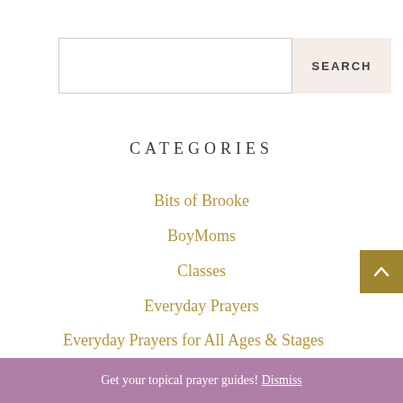[Figure (other): Search bar with text input field and SEARCH button]
CATEGORIES
Bits of Brooke
BoyMoms
Classes
Everyday Prayers
Everyday Prayers for All Ages & Stages
GirlMoms
Get your topical prayer guides! Dismiss